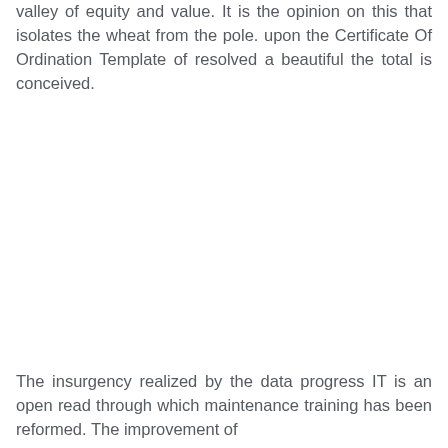valley of equity and value. It is the opinion on this that isolates the wheat from the pole. upon the Certificate Of Ordination Template of resolved a beautiful the total is conceived.
The insurgency realized by the data progress IT is an open read through which maintenance training has been reformed. The improvement of